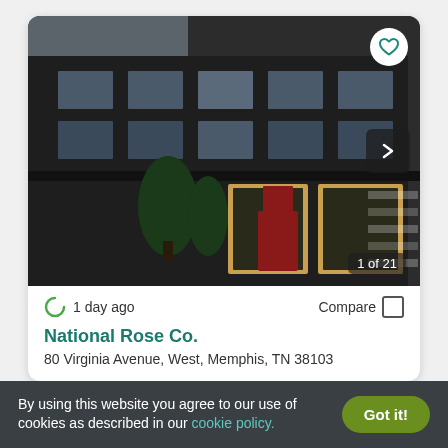[Figure (photo): Exterior photo of a dark-colored multi-story commercial building with large windows and glass storefronts, trees in foreground, showing '1 of 21' image counter]
1 day ago
Compare
National Rose Co.
80 Virginia Avenue, West, Memphis, TN 38103
By using this website you agree to our use of cookies as described in our cookie policy.
Got it!